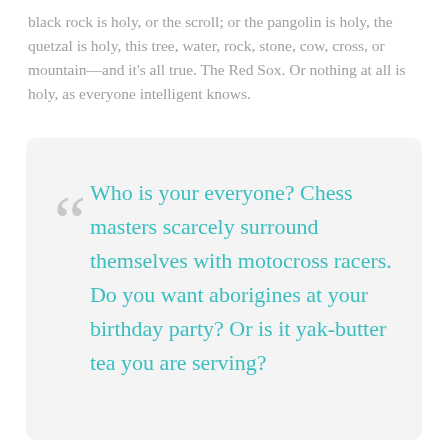black rock is holy, or the scroll; or the pangolin is holy, the quetzal is holy, this tree, water, rock, stone, cow, cross, or mountain—and it's all true. The Red Sox. Or nothing at all is holy, as everyone intelligent knows.
Who is your everyone? Chess masters scarcely surround themselves with motocross racers. Do you want aborigines at your birthday party? Or is it yak-butter tea you are serving?